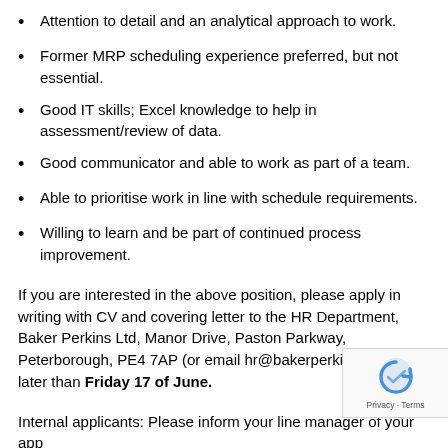Attention to detail and an analytical approach to work.
Former MRP scheduling experience preferred, but not essential.
Good IT skills; Excel knowledge to help in assessment/review of data.
Good communicator and able to work as part of a team.
Able to prioritise work in line with schedule requirements.
Willing to learn and be part of continued process improvement.
If you are interested in the above position, please apply in writing with CV and covering letter to the HR Department, Baker Perkins Ltd, Manor Drive, Paston Parkway, Peterborough, PE4 7AP (or email hr@bakerperkins.com) no later than Friday 17 of June.
Internal applicants: Please inform your line manager of your app...